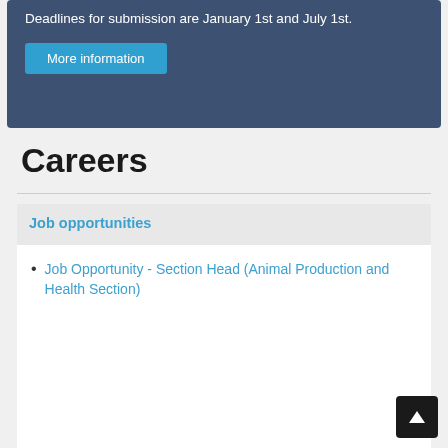Deadlines for submission are January 1st and July 1st.
More information
Careers
Job opportunities
Job Opportunity - Section Head (Animal Production and Health Section)